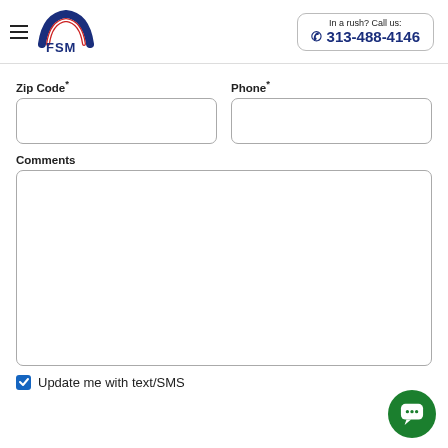[Figure (logo): FSM logo with red, white, blue arc and FSM text]
In a rush? Call us: 313-488-4146
Zip Code*
Phone*
Comments
Update me with text/SMS